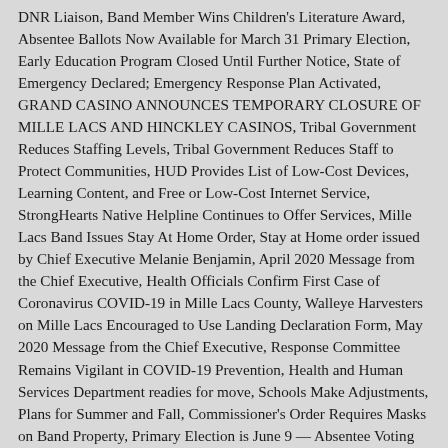DNR Liaison, Band Member Wins Children's Literature Award, Absentee Ballots Now Available for March 31 Primary Election, Early Education Program Closed Until Further Notice, State of Emergency Declared; Emergency Response Plan Activated, GRAND CASINO ANNOUNCES TEMPORARY CLOSURE OF MILLE LACS AND HINCKLEY CASINOS, Tribal Government Reduces Staffing Levels, Tribal Government Reduces Staff to Protect Communities, HUD Provides List of Low-Cost Devices, Learning Content, and Free or Low-Cost Internet Service, StrongHearts Native Helpline Continues to Offer Services, Mille Lacs Band Issues Stay At Home Order, Stay at Home order issued by Chief Executive Melanie Benjamin, April 2020 Message from the Chief Executive, Health Officials Confirm First Case of Coronavirus COVID-19 in Mille Lacs County, Walleye Harvesters on Mille Lacs Encouraged to Use Landing Declaration Form, May 2020 Message from the Chief Executive, Response Committee Remains Vigilant in COVID-19 Prevention, Health and Human Services Department readies for move, Schools Make Adjustments, Plans for Summer and Fall, Commissioner's Order Requires Masks on Band Property, Primary Election is June 9 — Absentee Voting Encouraged, Band Members Protect Native Buildings in Minneapolis, COVID-19 Testing Kicks Off in District II, Aanjibimaadizing offers education and training opportunities, A Statement from Mille Lacs Corporate